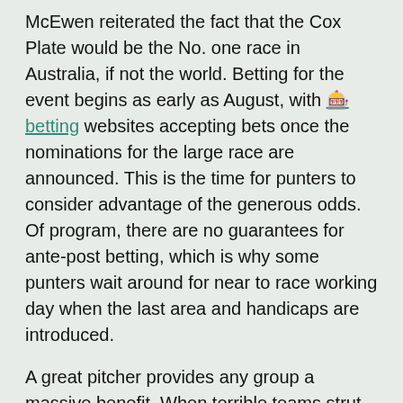McEwen reiterated the fact that the Cox Plate would be the No. one race in Australia, if not the world. Betting for the event begins as early as August, with 🎰 betting websites accepting bets once the nominations for the large race are announced. This is the time for punters to consider advantage of the generous odds. Of program, there are no guarantees for ante-post betting, which is why some punters wait around for near to race working day when the last area and handicaps are introduced.
A great pitcher provides any group a massive benefit. When terrible teams strut out their very best pitcher once each five games, they know that is their best chance to win that week. When great groups march on their very best pitcher, they know they will most likely get that working day. No player in any sport has